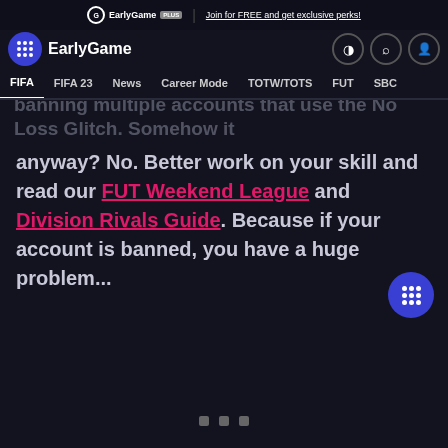EarlyGame PLUS | Join for FREE and get exclusive perks!
EarlyGame — FIFA | FIFA 23 | News | Career Mode | TOTW/TOTS | FUT | SBC
And who would have thought that? EA is now banning multiple accounts that use the No Loss Glitch. Somehow it anyway? No. Better work on your skill and read our FUT Weekend League and Division Rivals Guide. Because if your account is banned, you have a huge problem...